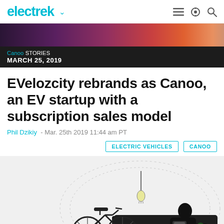electrek
[Figure (photo): Colorful banner image with gradient from dark purple to orange/red tones]
Canoo STORIES
MARCH 25, 2019
EVelozcity rebrands as Canoo, an EV startup with a subscription sales model
Phil Dzikiy  - Mar. 25th 2019 11:44 am PT
ELECTRIC VEHICLES   CANOO
[Figure (illustration): Silhouette illustration of a living room scene inside an egg-shaped pod: a person sitting on a dark couch using a tablet, a bicycle, a hanging light bulb, and a potted plant, with a dotted wireframe outline of the pod shape in the background]